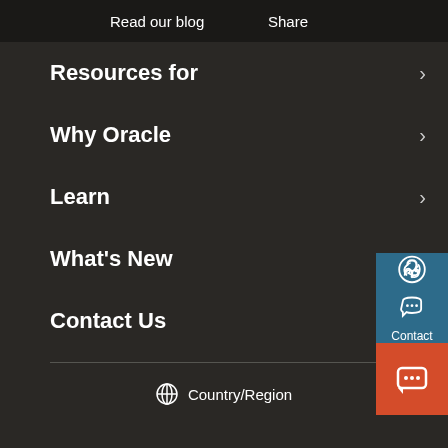Read our blog    Share
Resources for
Why Oracle
Learn
What's New
Contact Us
Country/Region
[Figure (infographic): Contact button (blue) with phone icon and 'Contact' label, and a chat button (orange/red) with speech bubble icon, both overlaid on the right edge of the page]